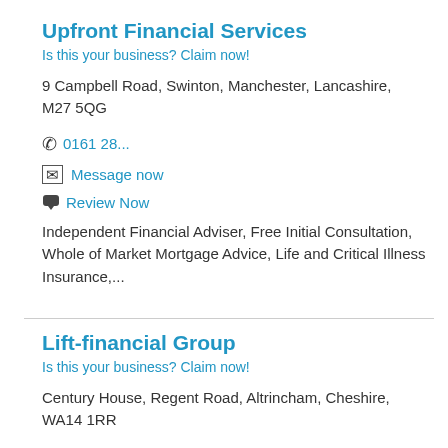Upfront Financial Services
Is this your business? Claim now!
9 Campbell Road, Swinton, Manchester, Lancashire, M27 5QG
0161 28...
Message now
Review Now
Independent Financial Adviser, Free Initial Consultation, Whole of Market Mortgage Advice, Life and Critical Illness Insurance,...
Lift-financial Group
Is this your business? Claim now!
Century House, Regent Road, Altrincham, Cheshire, WA14 1RR